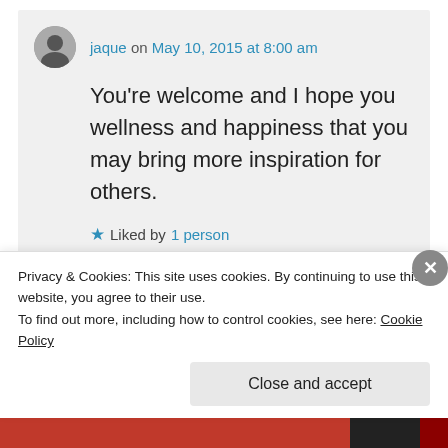jaque on May 10, 2015 at 8:00 am
You're welcome and I hope you wellness and happiness that you may bring more inspiration for others.
Liked by 1 person
Privacy & Cookies: This site uses cookies. By continuing to use this website, you agree to their use. To find out more, including how to control cookies, see here: Cookie Policy
Close and accept